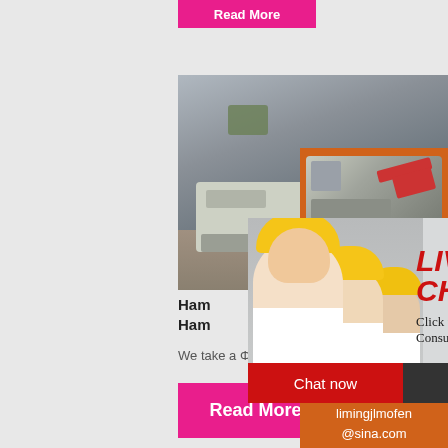[Figure (screenshot): Partially visible pink 'Read More' button at top of page]
[Figure (photo): Aerial/overhead photo of heavy construction machinery on a worksite]
Ham
Ham
We take a Φ900 x 900mm single rotor, im
[Figure (photo): Live Chat popup overlay with three workers in yellow hard hats and white shirts, showing 'LIVE CHAT - Click for a Free Consultation' with Chat now and Chat later buttons]
[Figure (screenshot): Right sidebar with orange background showing two crusher/mining machine images, 'Enjoy 3% discount', 'Click to Chat', 'Enquiry', and email 'limingjlmofen@sina.com']
[Figure (screenshot): Pink 'Read More' button at bottom of page]